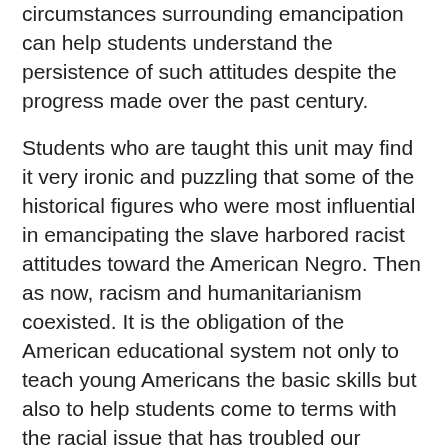circumstances surrounding emancipation can help students understand the persistence of such attitudes despite the progress made over the past century.
Students who are taught this unit may find it very ironic and puzzling that some of the historical figures who were most influential in emancipating the slave harbored racist attitudes toward the American Negro. Then as now, racism and humanitarianism coexisted. It is the obligation of the American educational system not only to teach young Americans the basic skills but also to help students come to terms with the racial issue that has troubled our country since the early sixteen hundreds. I think that this can be accomplished by having students study the period in American history when the controversy over slavery came to a head. It is my hope that the facts about the Lincoln Era will help dispel some of the misconceptions held by both black and white students about this period in American history and at the same time explain why racism did not